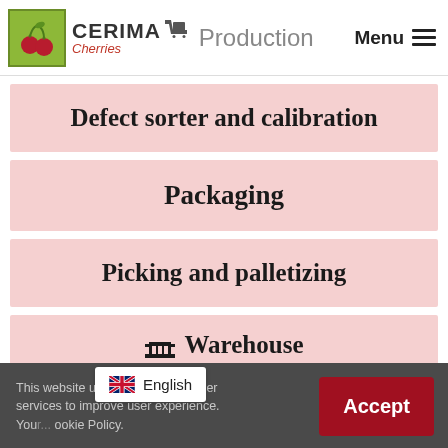CERIMA Cherries — Production — Menu
Defect sorter and calibration
Packaging
Picking and palletizing
🏢 Warehouse
This website uses cookies and other services to improve user experience. You... Cookie Policy.
🇬🇧 English
Accept